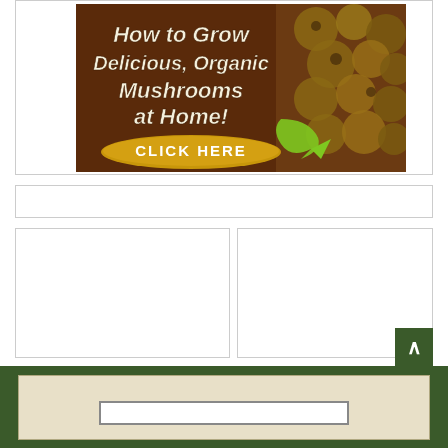[Figure (illustration): Advertisement banner: 'How to Grow Delicious, Organic Mushrooms at Home!' with a CLICK HERE button on a dark brown/wood background with mushroom photo on the right and a green arrow]
[Figure (other): Empty advertisement placeholder box (thin horizontal)]
[Figure (other): Empty advertisement placeholder box (left, large)]
[Figure (other): Empty advertisement placeholder box (right, large)]
Dark green footer bar with lighter beige inner box and search bar area